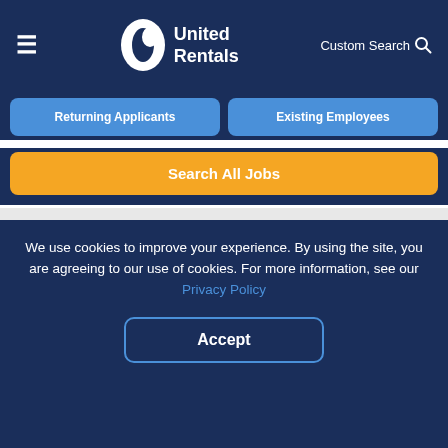[Figure (logo): United Rentals logo with oval icon and white text on dark navy background, hamburger menu icon on left, Custom Search with magnifier icon on right]
Returning Applicants
Existing Employees
Search All Jobs
become an Outside Sales Representative in one of our 1,200+ locations.
Internships
We use cookies to improve your experience. By using the site, you are agreeing to our use of cookies. For more information, see our Privacy Policy
Accept